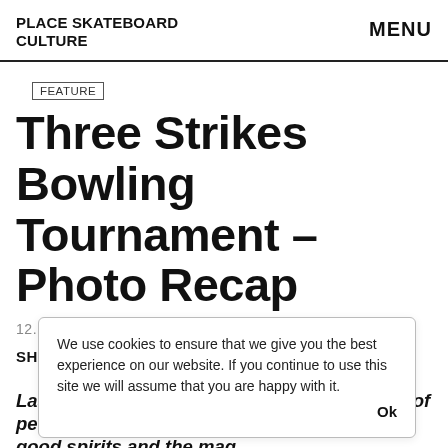PLACE SKATEBOARD CULTURE   MENU
FEATURE
Three Strikes Bowling Tournament – Photo Recap
12.FEBRUARY 2020
SHARE [social icons: Facebook, Twitter, Pocket, WhatsApp, Chat, Email]
Last Saturday something happened, a group of people honored us with their presence, their good spirits and the magic
Phot
We use cookies to ensure that we give you the best experience on our website. If you continue to use this site we will assume that you are happy with it.   Ok